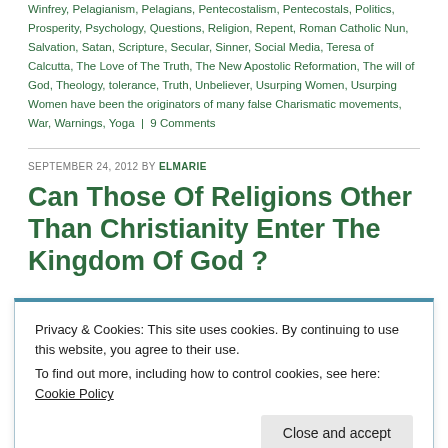Winfrey, Pelagianism, Pelagians, Pentecostalism, Pentecostals, Politics, Prosperity, Psychology, Questions, Religion, Repent, Roman Catholic Nun, Salvation, Satan, Scripture, Secular, Sinner, Social Media, Teresa of Calcutta, The Love of The Truth, The New Apostolic Reformation, The will of God, Theology, tolerance, Truth, Unbeliever, Usurping Women, Usurping Women have been the originators of many false Charismatic movements, War, Warnings, Yoga | 9 Comments
SEPTEMBER 24, 2012 BY ELMARIE
Can Those Of Religions Other Than Christianity Enter The Kingdom Of God ?
Privacy & Cookies: This site uses cookies. By continuing to use this website, you agree to their use. To find out more, including how to control cookies, see here: Cookie Policy